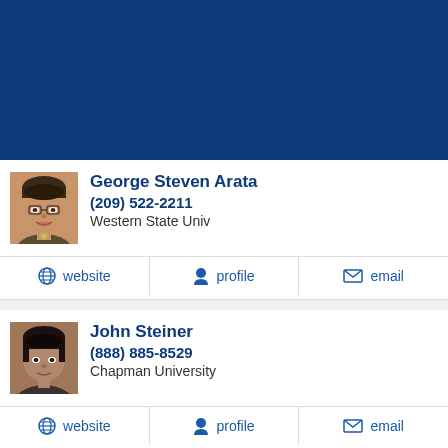[Figure (photo): Dark blue banner/header image at the top of the page]
[Figure (photo): Headshot photo of George Steven Arata, smiling middle-aged man with glasses]
George Steven Arata
(209) 522-2211
Western State Univ
website
profile
email
[Figure (photo): Headshot photo of John Steiner, dark-haired man]
John Steiner
(888) 885-8529
Chapman University
website
profile
email